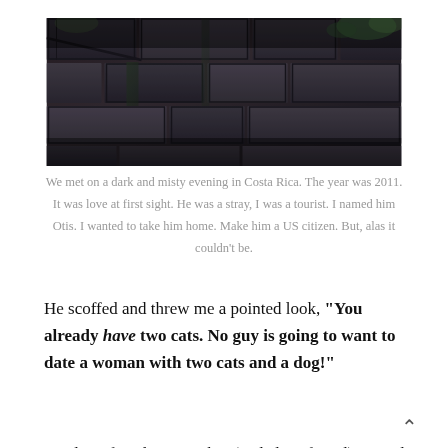[Figure (photo): Dark, moody photograph of stone brick/cobblestone pavement or wall, taken at night or in dim lighting in Costa Rica]
We met on a dark and misty evening in Costa Rica. The year was 2011. It was love at first sight. He was a stray, I was a tourist. I named him Otis. I wanted to take him home. Make him a US citizen. But, alas it couldn't be.
He scoffed and threw me a pointed look, “You already have two cats. No guy is going to want to date a woman with two cats and a dog!”
I and my female co-worker (and close friend) gasped in disagreement. This was a common occurrence. Our male co-worker would nonchalantly drop a statement we’d find incendiary